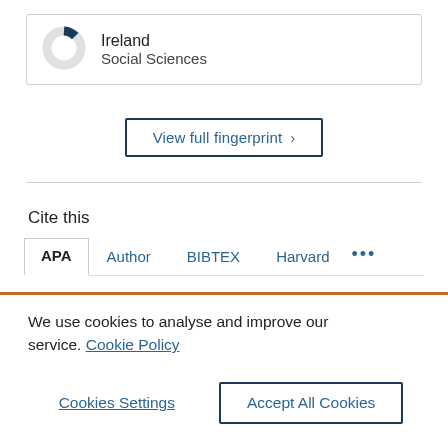[Figure (donut-chart): Small donut chart with a dark blue slice representing Ireland, Social Sciences]
Ireland
Social Sciences
View full fingerprint >
Cite this
APA   Author   BIBTEX   Harvard   ...
We use cookies to analyse and improve our service. Cookie Policy
Cookies Settings   Accept All Cookies